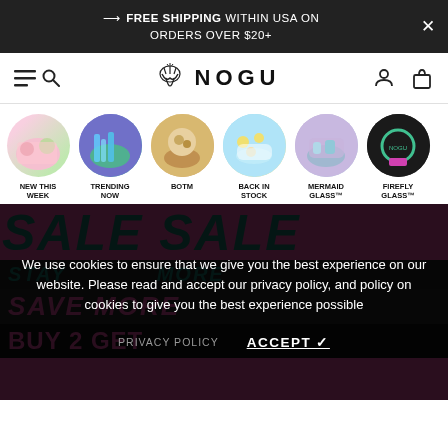FREE SHIPPING WITHIN USA ON ORDERS OVER $20+
[Figure (logo): NOGU brand logo with stylized M icon]
NEW THIS WEEK
TRENDING NOW
BOTM
BACK IN STOCK
MERMAID GLASS™
FIREFLY GLASS™
[Figure (screenshot): Sale banner with repeating SALE text in teal on pink background]
We use cookies to ensure that we give you the best experience on our website. Please read and accept our privacy policy, and policy on cookies to give you the best experience possible
PRIVACY POLICY    ACCEPT ✓